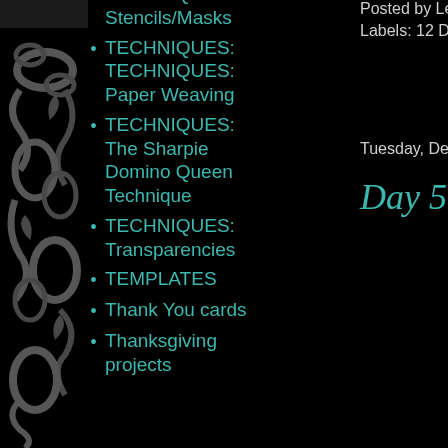[Figure (illustration): Decorative black and grey floral/scroll pattern on left border]
Posted by Leigh
Labels: 12 Days o
TECHNIQUES: Coloured Pencils
TECHNIQUES: Stencils/Masks
TECHNIQUES: TECHNIQUES: Paper Weaving
TECHNIQUES: The Sharpie Domino Queen Technique
TECHNIQUES: Transparencies
TEMPLATES
Thank You cards
Thanksgiving projects
Tuesday, Decemb
Day 5 of 12